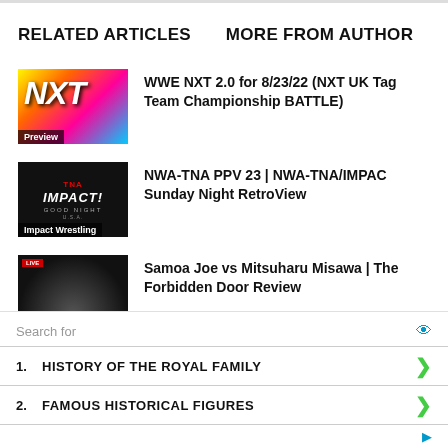RELATED ARTICLES    MORE FROM AUTHOR
[Figure (photo): WWE NXT 2.0 colorful logo thumbnail with 'Preview' label overlay]
WWE NXT 2.0 for 8/23/22 (NXT UK Tag Team Championship BATTLE)
[Figure (photo): TNA Impact Wrestling dark thumbnail with 'Impact Wrestling' label overlay]
NWA-TNA PPV 23 | NWA-TNA/IMPAC Sunday Night RetroView
[Figure (photo): Dark arena photo with LIVE badge]
Samoa Joe vs Mitsuharu Misawa | The Forbidden Door Review